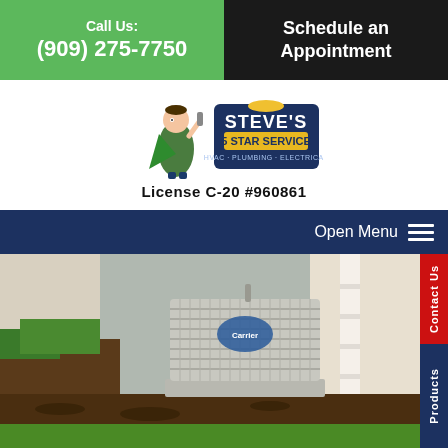Call Us:
(909) 275-7750
Schedule an Appointment
[Figure (logo): Steve's 5 Star Service logo with cartoon superhero mascot]
License C-20 #960861
Open Menu
[Figure (photo): Carrier brand outdoor air conditioning unit installed beside a house, surrounded by mulch and green grass]
Contact Us
Products